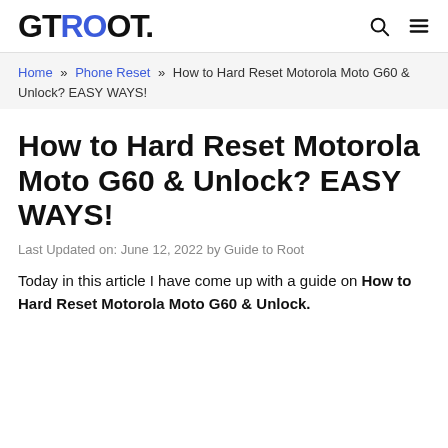GTROOT.
Home » Phone Reset » How to Hard Reset Motorola Moto G60 & Unlock? EASY WAYS!
How to Hard Reset Motorola Moto G60 & Unlock? EASY WAYS!
Last Updated on: June 12, 2022 by Guide to Root
Today in this article I have come up with a guide on How to Hard Reset Motorola Moto G60 & Unlock.